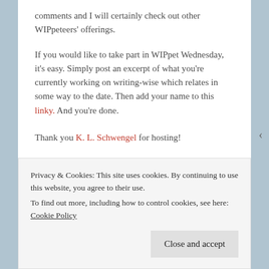comments and I will certainly check out other WIPpeteers' offerings.
If you would like to take part in WIPpet Wednesday, it's easy. Simply post an excerpt of what you're currently working on writing-wise which relates in some way to the date. Then add your name to this linky. And you're done.
Thank you K. L. Schwengel for hosting!
Privacy & Cookies: This site uses cookies. By continuing to use this website, you agree to their use.
To find out more, including how to control cookies, see here: Cookie Policy